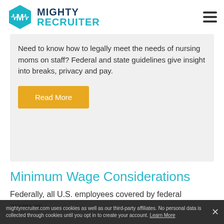[Figure (logo): Mighty Recruiter logo with teal hexagon M icon and company name]
Need to know how to legally meet the needs of nursing moms on staff? Federal and state guidelines give insight into breaks, privacy and pay.
Read More
Minimum Wage Considerations
Federally, all U.S. employees covered by federal minimum
mightyrecruiter.com uses cookies as well as our third-party affiliates. No personal data is collected through cookies until you opt in to create your account. Learn More